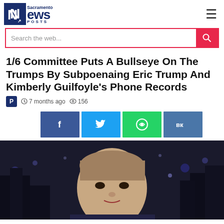Sacramento News Posts
Search the web...
1/6 Committee Puts A Bullseye On The Trumps By Subpoenaing Eric Trump And Kimberly Guilfoyle's Phone Records
7 months ago  156
[Figure (other): Social share buttons: Facebook, Twitter, WhatsApp, VKontakte]
[Figure (photo): Photo of Eric Trump speaking on TV with night cityscape in background]